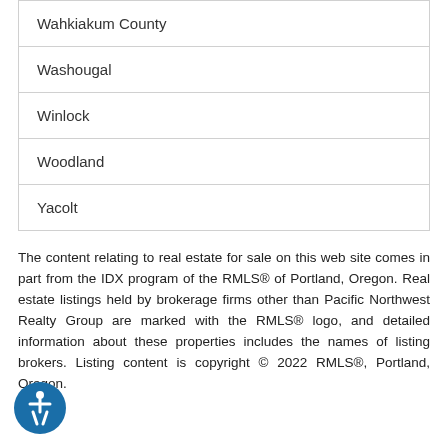Wahkiakum County
Washougal
Winlock
Woodland
Yacolt
The content relating to real estate for sale on this web site comes in part from the IDX program of the RMLS® of Portland, Oregon. Real estate listings held by brokerage firms other than Pacific Northwest Realty Group are marked with the RMLS® logo, and detailed information about these properties includes the names of listing brokers. Listing content is copyright © 2022 RMLS®, Portland, Oregon.